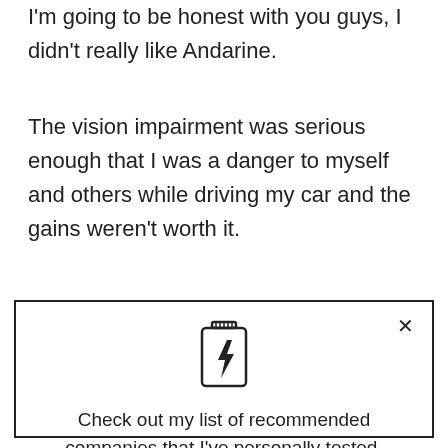I'm going to be honest with you guys, I didn't really like Andarine.
The vision impairment was serious enough that I was a danger to myself and others while driving my car and the gains weren't worth it.
I did manage to lose 6% of my total body fat and 8
[Figure (illustration): Supplement bottle icon with lightning bolt symbol inside]
Check out my list of recommended companies that I've personally tested.
RECOMMENDED SOURCES